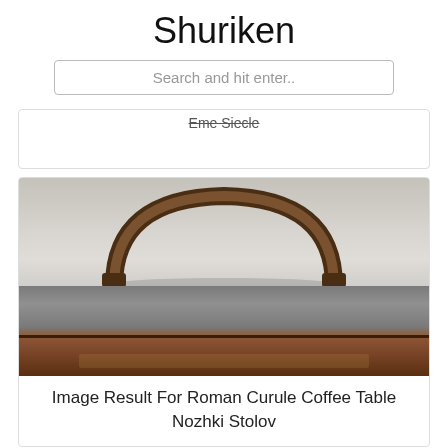Shuriken
Search and hit enter..
Eme Siecle
[Figure (photo): Close-up photo of a curved arch or bracket element, possibly a furniture leg or decorative piece, against a light gray background]
[Figure (photo): Photo of what appears to be a Roman curule style coffee table or furniture piece with dark top and reddish-brown ornate base against a gray background]
Image Result For Roman Curule Coffee Table Nozhki Stolov
[Figure (photo): Partial image at bottom of page, appears to show a teal/blue colored object, partially cut off]